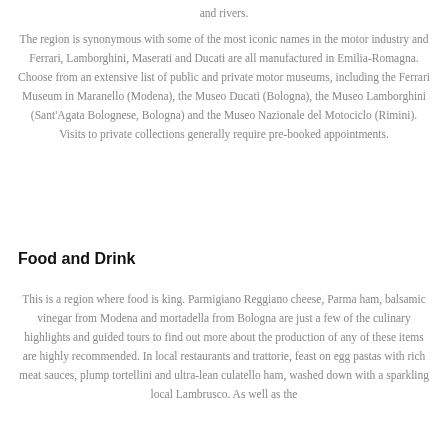and rivers.
The region is synonymous with some of the most iconic names in the motor industry and Ferrari, Lamborghini, Maserati and Ducati are all manufactured in Emilia-Romagna. Choose from an extensive list of public and private motor museums, including the Ferrari Museum in Maranello (Modena), the Museo Ducati (Bologna), the Museo Lamborghini (Sant'Agata Bolognese, Bologna) and the Museo Nazionale del Motociclo (Rimini). Visits to private collections generally require pre-booked appointments.
Food and Drink
This is a region where food is king. Parmigiano Reggiano cheese, Parma ham, balsamic vinegar from Modena and mortadella from Bologna are just a few of the culinary highlights and guided tours to find out more about the production of any of these items are highly recommended. In local restaurants and trattorie, feast on egg pastas with rich meat sauces, plump tortellini and ultra-lean culatello ham, washed down with a sparkling local Lambrusco. As well as the